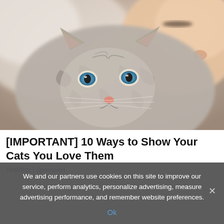[Figure (photo): A person cuddling/kissing a tabby cat with blue eyes close-up]
[IMPORTANT] 10 Ways to Show Your Cats You Love Them
ViralBezz | Sponsored
We and our partners use cookies on this site to improve our service, perform analytics, personalize advertising, measure advertising performance, and remember website preferences.
Ok